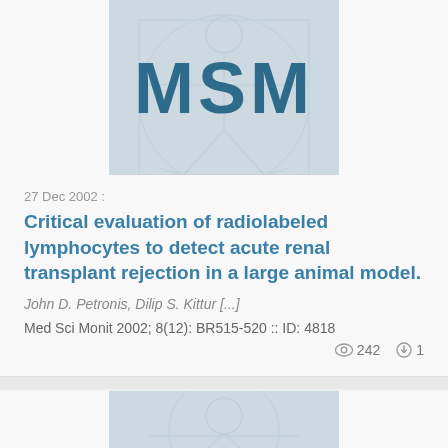[Figure (logo): MSM journal logo with Vitruvian man background, teal/blue colors]
27 Dec 2002 :
Critical evaluation of radiolabeled lymphocytes to detect acute renal transplant rejection in a large animal model.
John D. Petronis, Dilip S. Kittur [...]
Med Sci Monit 2002; 8(12): BR515-520 :: ID: 4818
242 views, 1 download
[Figure (logo): Partial MSM journal logo with Vitruvian man background at bottom of page]